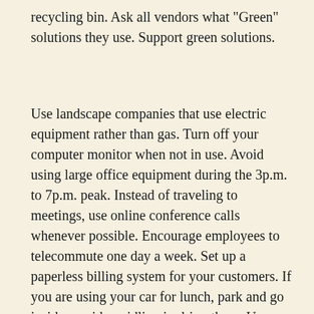recycling bin. Ask all vendors what "Green" solutions they use. Support green solutions.
Use landscape companies that use electric equipment rather than gas. Turn off your computer monitor when not in use. Avoid using large office equipment during the 3p.m. to 7p.m. peak. Instead of traveling to meetings, use online conference calls whenever possible. Encourage employees to telecommute one day a week. Set up a paperless billing system for your customers. If you are using your car for lunch, park and go inside; avoid car idling in drive-thrus. Use "green" printers or treeless paper.